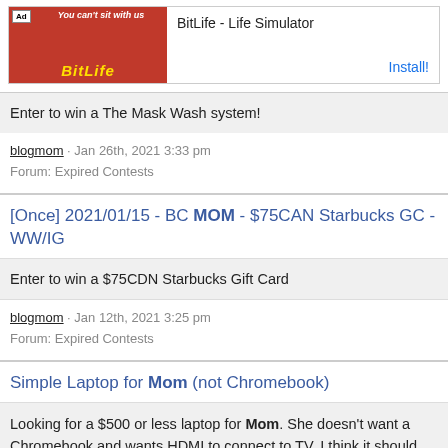[Figure (other): Advertisement banner for BitLife - Life Simulator app with red graphic and Install button]
Enter to win a The Mask Wash system!
blogmom · Jan 26th, 2021 3:33 pm
Forum: Expired Contests
[Once] 2021/01/15 - BC MOM - $75CAN Starbucks GC - WW/IG
Enter to win a $75CDN Starbucks Gift Card
blogmom · Jan 12th, 2021 3:25 pm
Forum: Expired Contests
Simple Laptop for Mom (not Chromebook)
Looking for a $500 or less laptop for Mom. She doesn't want a Chromebook and wants HDMI to connect to TV. I think it should have 8GB DDR4 RAM to future proof a little and not lag, as well as an SSD. The other specs